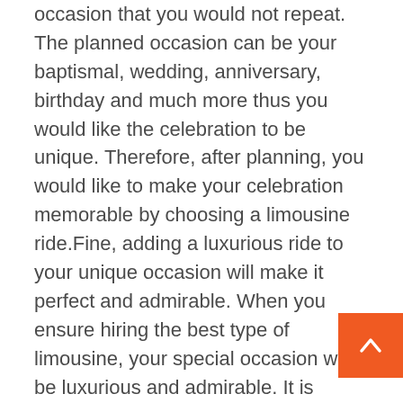occasion that you would not repeat. The planned occasion can be your baptismal, wedding, anniversary, birthday and much more thus you would like the celebration to be unique. Therefore, after planning, you would like to make your celebration memorable by choosing a limousine ride.Fine, adding a luxurious ride to your unique occasion will make it perfect and admirable. When you ensure hiring the best type of limousine, your special occasion will be luxurious and admirable. It is important to ensure hunting the service of limousine to have a perfect satisfaction for your ceremony. Therefore, it is important to make the comparison of various companies of limousine since they have variation of rates and prices.Thus, you can make a start of searching for your yellow pages for services of limousine.The list you made you can ensure contacting for you to have comparison of